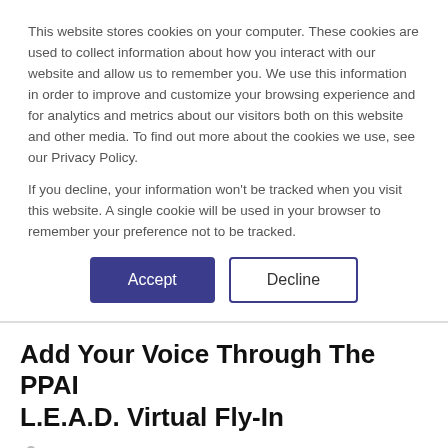This website stores cookies on your computer. These cookies are used to collect information about how you interact with our website and allow us to remember you. We use this information in order to improve and customize your browsing experience and for analytics and metrics about our visitors both on this website and other media. To find out more about the cookies we use, see our Privacy Policy.

If you decline, your information won't be tracked when you visit this website. A single cookie will be used in your browser to remember your preference not to be tracked.
Accept | Decline
Add Your Voice Through The PPAI L.E.A.D. Virtual Fly-In
STAFF - JULY 31, 2017
[Figure (other): Social share buttons: Facebook, Twitter, LinkedIn]